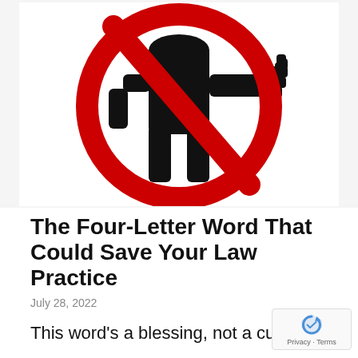[Figure (illustration): A prohibition sign (red circle with diagonal red slash) overlaid on a black silhouette of a person extending their hand as if begging or soliciting, on a white background.]
The Four-Letter Word That Could Save Your Law Practice
July 28, 2022
This word's a blessing, not a curse.